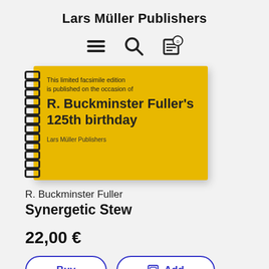Lars Müller Publishers
[Figure (illustration): Three navigation icons: hamburger menu (three horizontal lines), magnifying glass search icon, and a clipboard/cart icon with '0' badge]
[Figure (photo): A spiral-bound book with a yellow cover. Text on cover: 'This limited facsimile edition is published on the occasion of R. Buckminster Fuller's 125th birthday'. Publisher: Lars Müller Publishers.]
R. Buckminster Fuller
Synergetic Stew
22,00 €
Buy  Add